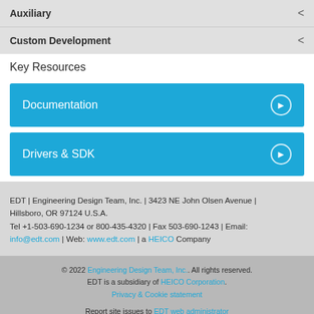Auxiliary
Custom Development
Key Resources
Documentation
Drivers & SDK
EDT | Engineering Design Team, Inc. | 3423 NE John Olsen Avenue | Hillsboro, OR 97124 U.S.A. Tel +1-503-690-1234 or 800-435-4320 | Fax 503-690-1243 | Email: info@edt.com | Web: www.edt.com | a HEICO Company
© 2022 Engineering Design Team, Inc.. All rights reserved. EDT is a subsidiary of HEICO Corporation. Privacy & Cookie statement Report site issues to EDT web administrator